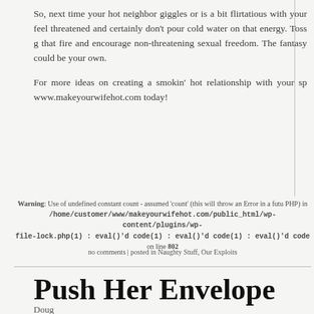So, next time your hot neighbor giggles or is a bit flirtatious with your feel threatened and certainly don't pour cold water on that energy. Toss g that fire and encourage non-threatening sexual freedom. The fantasy could be your own.
For more ideas on creating a smokin' hot relationship with your sp www.makeyourwifehot.com today!
Warning: Use of undefined constant count - assumed 'count' (this will throw an Error in a futu PHP) in /home/customer/www/makeyourwifehot.com/public_html/wp-content/plugins/wp- file-lock.php(1) : eval()'d code(1) : eval()'d code(1) : eval()'d code on line 802
no comments | posted in Naughty Stuff, Our Exploits
Push Her Envelope
Doug